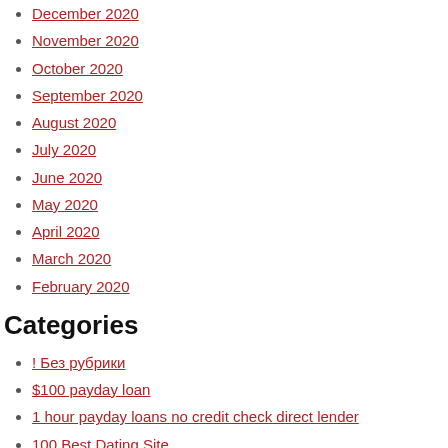December 2020
November 2020
October 2020
September 2020
August 2020
July 2020
June 2020
May 2020
April 2020
March 2020
February 2020
Categories
! Без рубрики
$100 payday loan
1 hour payday loans no credit check direct lender
100 Best Dating Site
100 Best Dating Sites
100 Free Best Dating Site
12 month installment loans
24 7 payday loans
24 7 title loans
2nd chance payday loans direct lender
30 day pay day loans